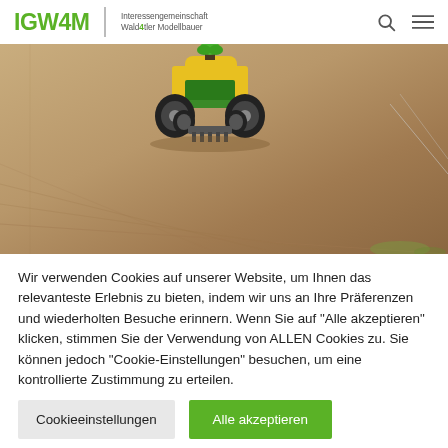IGW4M | Interessengemeinschaft Wald4tler Modellbauer
[Figure (photo): A model tractor (green and yellow) plowing a field of bare soil outdoors, seen from above at an angle. Faint guidelines visible in the soil.]
Wir verwenden Cookies auf unserer Website, um Ihnen das relevanteste Erlebnis zu bieten, indem wir uns an Ihre Präferenzen und wiederholten Besuche erinnern. Wenn Sie auf "Alle akzeptieren" klicken, stimmen Sie der Verwendung von ALLEN Cookies zu. Sie können jedoch "Cookie-Einstellungen" besuchen, um eine kontrollierte Zustimmung zu erteilen.
Cookieeinstellungen
Alle akzeptieren